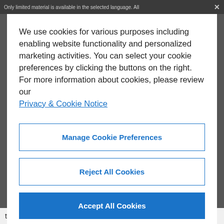Only limited material is available in the selected language. All ×
We use cookies for various purposes including enabling website functionality and personalized marketing activities. You can select your cookie preferences by clicking the buttons on the right. For more information about cookies, please review our Privacy & Cookie Notice
Manage Cookie Preferences
Reject All Cookies
Accept All Cookies
throughout with visually stunning, consistently rendered